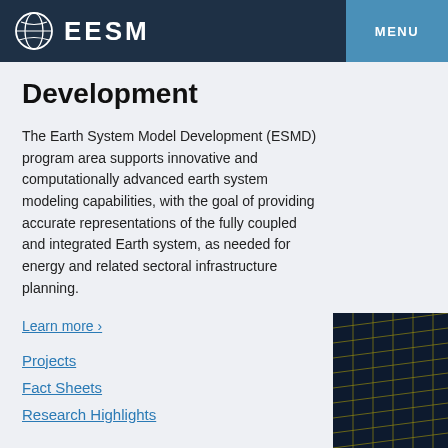EESM  MENU
Development
The Earth System Model Development (ESMD) program area supports innovative and computationally advanced earth system modeling capabilities, with the goal of providing accurate representations of the fully coupled and integrated Earth system, as needed for energy and related sectoral infrastructure planning.
Learn more ›
Projects
Fact Sheets
Research Highlights